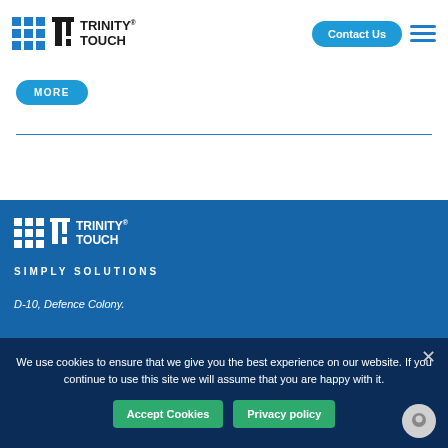Trinity Touch — Contact Us | Navigation
[Figure (logo): Trinity Touch logo with blue grid icon and brand name]
MORE
D-10, Defence Colony.
[Figure (logo): Trinity Touch white logo on blue background]
SIMPLY SOLUTIONS
We use cookies to ensure that we give you the best experience on our website. If you continue to use this site we will assume that you are happy with it.
Accept Cookies
Privacy policy